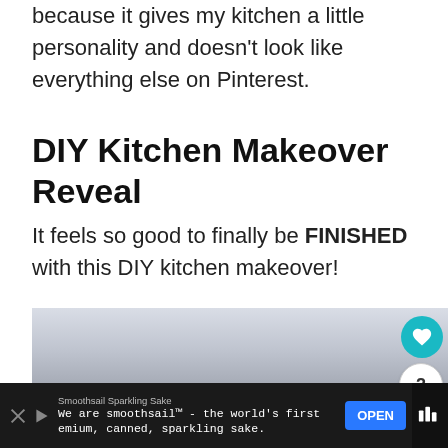because it gives my kitchen a little personality and doesn't look like everything else on Pinterest.
DIY Kitchen Makeover Reveal
It feels so good to finally be FINISHED with this DIY kitchen makeover!
[Figure (photo): Photo of a kitchen ceiling with recessed lighting, partially visible dark cabinetry at the bottom, with social sharing buttons (heart, count=2, share) overlaid on the right side.]
[Figure (other): Advertisement banner for Smoothsail Sparkling Sake with OPEN button and brand logo.]